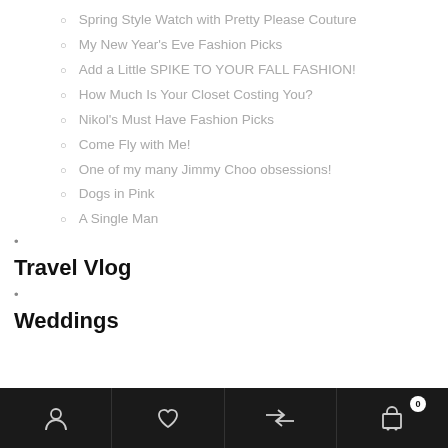Spring Style Watch with Pretty Please Couture
My New Year's Eve Fashion Picks
Add a Little SPIKE TO YOUR FALL FASHION!
How Much Is Your Closet Costing You?
Nikol's Must Have Fashion Picks
Come Fly with Me!
One of my many Jimmy Choo obsessions!
Dogs in Pink
A Single Man
Travel Vlog
Weddings
Navigation bar with user, wishlist, compare, and cart (0) icons